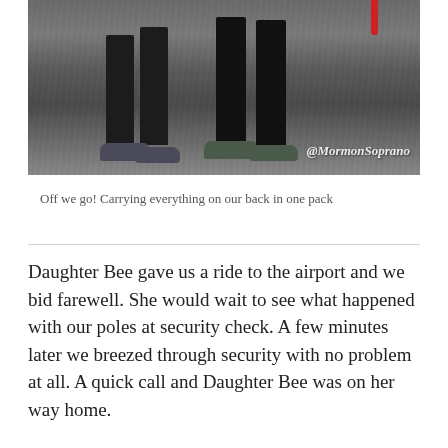[Figure (photo): Photo showing the lower bodies and legs of two people standing on pavement, both wearing dark pants and sneakers. A watermark '@MormonSoprano' appears in italic white text at the bottom right.]
Off we go! Carrying everything on our back in one pack
Daughter Bee gave us a ride to the airport and we bid farewell. She would wait to see what happened with our poles at security check. A few minutes later we breezed through security with no problem at all. A quick call and Daughter Bee was on her way home.